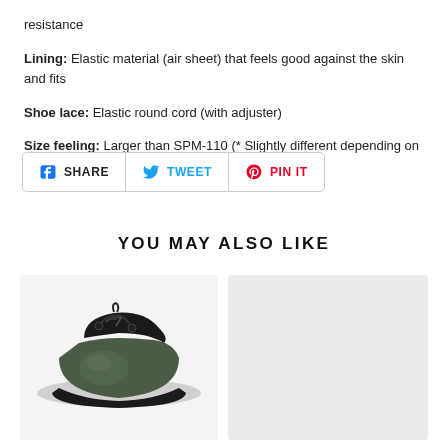resistance
Lining: Elastic material (air sheet) that feels good against the skin and fits
Shoe lace: Elastic round cord (with adjuster)
Size feeling: Larger than SPM-110 (* Slightly different depending on the material and design)
[Figure (infographic): Social sharing buttons: SHARE (Facebook), TWEET (Twitter), PIN IT (Pinterest)]
YOU MAY ALSO LIKE
[Figure (photo): Dark green/black low-cut rubber boot with elastic lace adjuster, shown on white background]
[Figure (photo): Second product image placeholder, light gray background]